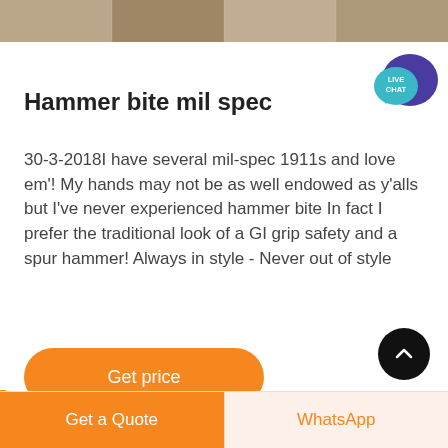[Figure (photo): Top strip showing partial images of firearms/gun parts]
Hammer bite mil spec
[Figure (other): Live Chat speech bubble icon with purple background and teal foreground bubble reading LIVE CHAT]
30-3-2018I have several mil-spec 1911s and love em'! My hands may not be as well endowed as y'alls but I've never experienced hammer bite In fact I prefer the traditional look of a GI grip safety and a spur hammer! Always in style - Never out of style
[Figure (other): Orange rounded button labeled Get price]
[Figure (other): Black circular scroll-to-top button with upward chevron]
[Figure (other): Bottom navigation bar with orange Get a Quote button and light WhatsApp button]